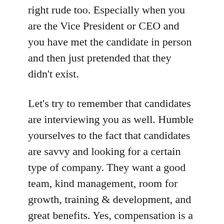right rude too. Especially when you are the Vice President or CEO and you have met the candidate in person and then just pretended that they didn't exist.
Let's try to remember that candidates are interviewing you as well. Humble yourselves to the fact that candidates are savvy and looking for a certain type of company. They want a good team, kind management, room for growth, training & development, and great benefits. Yes, compensation is a key component, but those other items are also at the top of the list.
Stop wasting time. We think this job market is